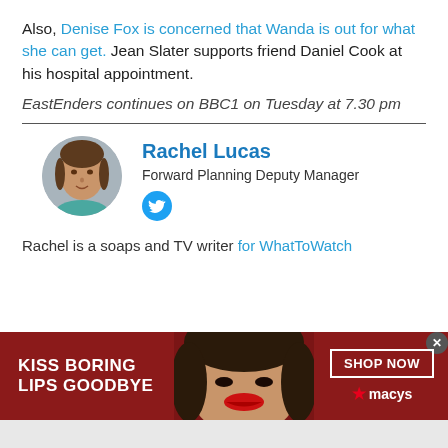Also, Denise Fox is concerned that Wanda is out for what she can get. Jean Slater supports friend Daniel Cook at his hospital appointment.
EastEnders continues on BBC1 on Tuesday at 7.30 pm
Rachel Lucas
Forward Planning Deputy Manager
[Figure (photo): Circular profile photo of Rachel Lucas, a woman with dark hair]
[Figure (logo): Twitter bird icon in blue circle]
Rachel is a soaps and TV writer for WhatToWatch
[Figure (photo): Macy's advertisement banner: KISS BORING LIPS GOODBYE with woman's face and SHOP NOW button]